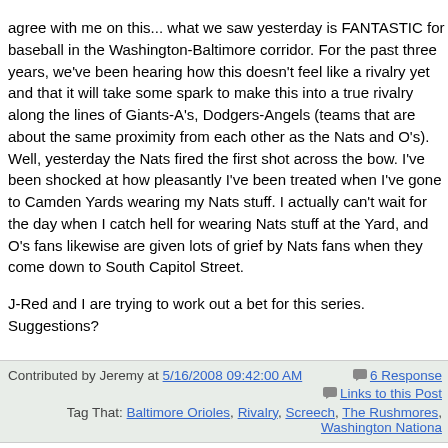agree with me on this... what we saw yesterday is FANTASTIC for baseball in the Washington-Baltimore corridor. For the past three years, we've been hearing how this doesn't feel like a rivalry yet and that it will take some spark to make this into a true rivalry along the lines of Giants-A's, Dodgers-Angels (teams that are about the same proximity from each other as the Nats and O's). Well, yesterday the Nats fired the first shot across the bow. I've been shocked at how pleasantly I've been treated when I've gone to Camden Yards wearing my Nats stuff. I actually can't wait for the day when I catch hell for wearing Nats stuff at the Yard, and O's fans likewise are given lots of grief by Nats fans when they come down to South Capitol Street.
J-Red and I are trying to work out a bet for this series. Suggestions?
Contributed by Jeremy at 5/16/2008 09:42:00 AM     6 Responses     Links to this Post
Tag That: Baltimore Orioles, Rivalry, Screech, The Rushmores, Washington Nationals
MAY 15, 2008
Orioles Magic 2008
Leave it to Kevin Millar to put together an update of the Orioles Magic song. The most interesting thing about this video from MASN is that Millar